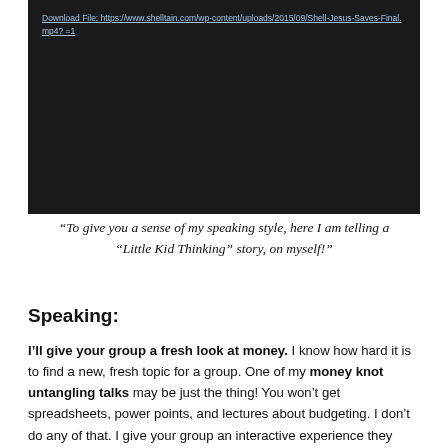[Figure (screenshot): Dark video player block with a download link in light blue underlined text reading: Download File: https://www.shelltain.com/wp-content/uploads/2015/09/Shell-Jesus-Saves-Final.mp4?_=1]
“To give you a sense of my speaking style, here I am telling a “Little Kid Thinking” story, on myself!”
Speaking:
I’ll give your group a fresh look at money. I know how hard it is to find a new, fresh topic for a group. One of my money knot untangling talks may be just the thing! You won’t get spreadsheets, power points, and lectures about budgeting. I don’t do any of that. I give your group an interactive experience they won’t forget! No number crunching